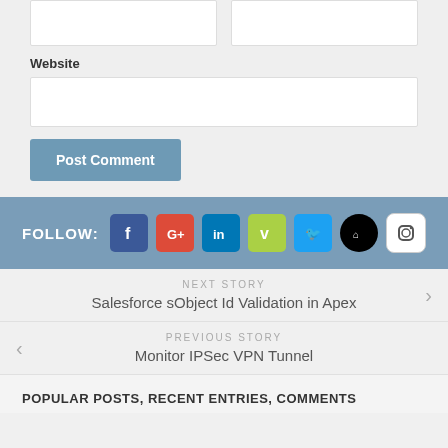Website
[Figure (screenshot): Two empty text input fields side by side, followed by a full-width Website input field, and a blue Post Comment button]
FOLLOW:
[Figure (infographic): Social media icons: Facebook, Google+, LinkedIn, Vimeo, Twitter, GitHub, Instagram]
NEXT STORY
Salesforce sObject Id Validation in Apex
PREVIOUS STORY
Monitor IPSec VPN Tunnel
POPULAR POSTS, RECENT ENTRIES, COMMENTS